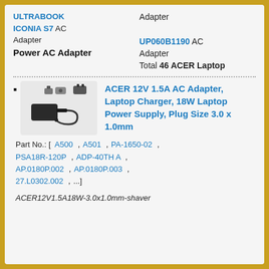Adapter
ULTRABOOK ICONIA S7 AC Adapter
UP060B1190 AC Adapter
Total 46 ACER Laptop Power AC Adapter
ACER 12V 1.5A AC Adapter, Laptop Charger, 18W Laptop Power Supply, Plug Size 3.0 x 1.0mm
Part No.: [ A500 , A501 , PA-1650-02 , PSA18R-120P , ADP-40TH A , AP.0180P.002 , AP.0180P.003 , 27.L0302.002 , ...]
ACER12V1.5A18W-3.0x1.0mm-shaver